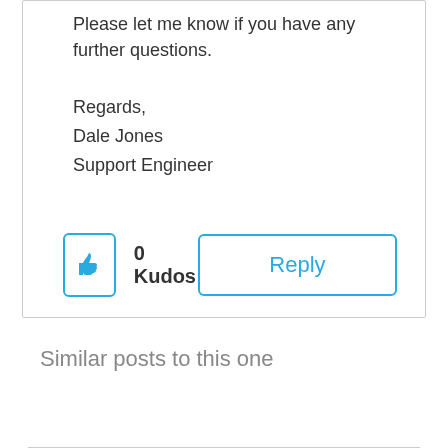Please let me know if you have any further questions.
Regards,
Dale Jones
Support Engineer
0 Kudos
Reply
Similar posts to this one